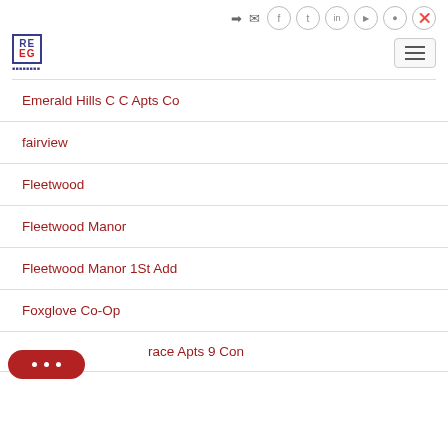RE EG [logo] [social icons] [hamburger menu]
Emerald Hills C C Apts Co
fairview
Fleetwood
Fleetwood Manor
Fleetwood Manor 1St Add
Foxglove Co-Op
race Apts 9 Con